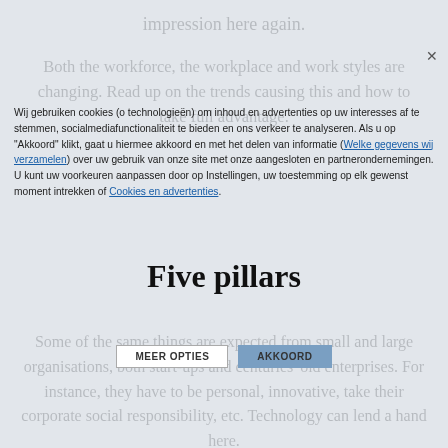impression here again.
Both the workforce, the workplace and work styles are changing. Read up on the trends causing this and how to take full advantage.
Five pillars
Some of the same things are expected from small and large organisations, both start-ups and centuries' old enterprises. For instance, they have to be personal, innovative, take their corporate social responsibility, etc. Technology can lend a hand here.